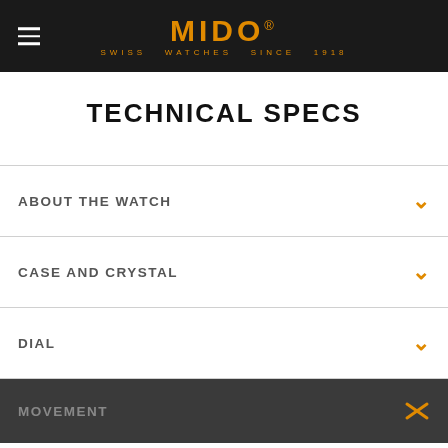MIDO® SWISS WATCHES SINCE 1918
TECHNICAL SPECS
ABOUT THE WATCH
CASE AND CRYSTAL
DIAL
MOVEMENT